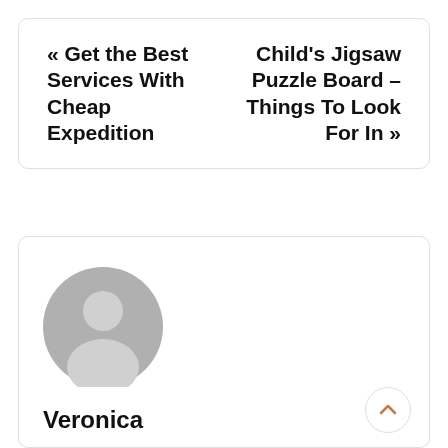« Get the Best Services With Cheap Expedition
Child's Jigsaw Puzzle Board – Things To Look For In »
[Figure (illustration): Gray default user avatar/profile picture icon — a silhouette of a person's head and shoulders on a circular gray background]
Veronica